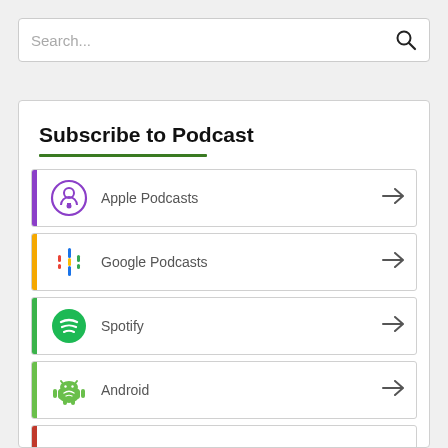[Figure (screenshot): Search bar with placeholder text 'Search...' and magnifying glass icon on the right]
Subscribe to Podcast
Apple Podcasts
Google Podcasts
Spotify
Android